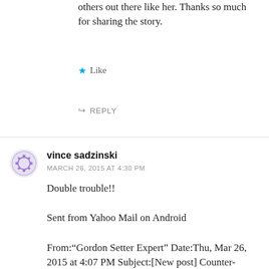others out there like her. Thanks so much for sharing the story.
★ Like
↪ REPLY
vince sadzinski
MARCH 26, 2015 AT 4:30 PM
Double trouble!!

Sent from Yahoo Mail on Android

From:"Gordon Setter Expert" Date:Thu, Mar 26, 2015 at 4:07 PM Subject:[New post] Counter-Surfing â Gordons do it best without a board!

Sally Gift posted: "After thirty plus years and six